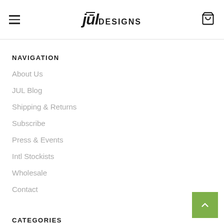jūl DESIGNS
NAVIGATION
About Us
JUL Blog
Shipping & Returns
Subscribe
Press & Events
Intl Stockists
Wholesale
Contact
CATEGORIES